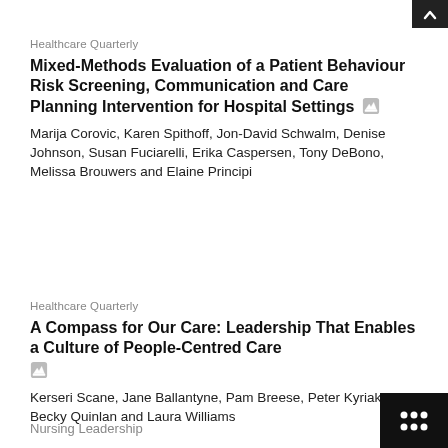Healthcare Quarterly
Mixed-Methods Evaluation of a Patient Behaviour Risk Screening, Communication and Care Planning Intervention for Hospital Settings
Marija Corovic, Karen Spithoff, Jon-David Schwalm, Denise Johnson, Susan Fuciarelli, Erika Caspersen, Tony DeBono, Melissa Brouwers and Elaine Principi
Healthcare Quarterly
A Compass for Our Care: Leadership That Enables a Culture of People-Centred Care
Kerseri Scane, Jane Ballantyne, Pam Breese, Peter Kyriakides, Becky Quinlan and Laura Williams
Nursing Leadership